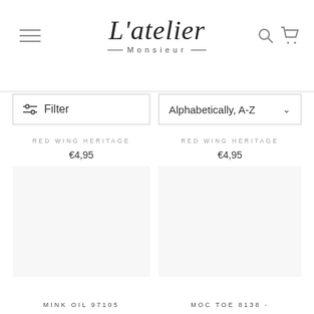L'atelier Monsieur
Filter
Alphabetically, A-Z
RED WING HERITAGE
€4,95
RED WING HERITAGE
€4,95
MINK OIL 97105
MOC TOE 8138 -